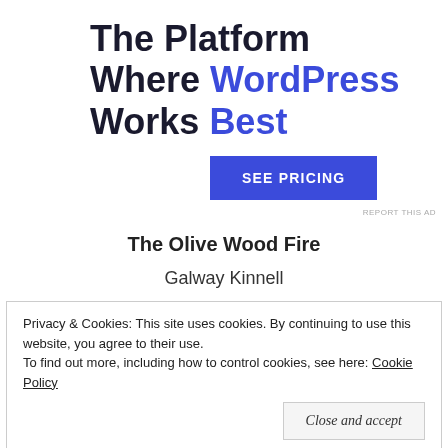The Platform Where WordPress Works Best
SEE PRICING
REPORT THIS AD
The Olive Wood Fire
Galway Kinnell
Privacy & Cookies: This site uses cookies. By continuing to use this website, you agree to their use.
To find out more, including how to control cookies, see here: Cookie Policy
Close and accept
REPORT THIS AD